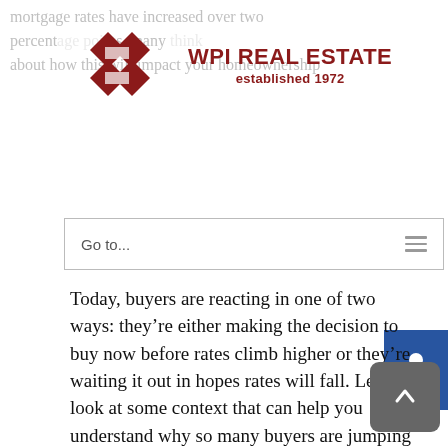mortgage rates have increased over two percentage points, many think about how this will impact your homeownership
[Figure (logo): WPI Real Estate logo with interlocking diamond shapes in dark red and the text 'WPI REAL ESTATE established 1972']
Go to...
Today, buyers are reacting in one of two ways: they’re either making the decision to buy now before rates climb higher or they’re waiting it out in hopes rates will fall. Let’s look at some context that can help you understand why so many buyers are jumping off the fence and into action rather than waiting to buy.
A Look Back: How the Current Mortgage Rate